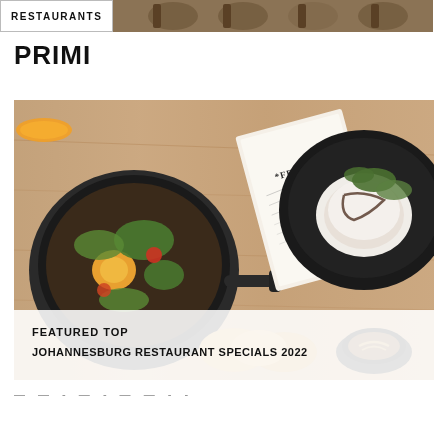RESTAURANTS
PRIMI
[Figure (photo): Overhead view of a restaurant table with a cast iron skillet containing eggs and vegetables, a Federal restaurant menu, a black plate with a gourmet egg dish, bread rolls, and a coffee with latte art. Overlay text reads: FEATURED TOP JOHANNESBURG RESTAURANT SPECIALS 2022]
FEATURED TOP JOHANNESBURG RESTAURANT SPECIALS 2022
— — - — - — — - -